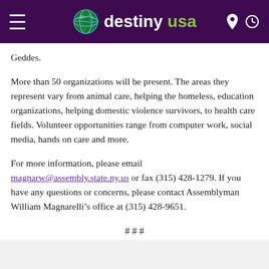destiny usa
Geddes.
More than 50 organizations will be present. The areas they represent vary from animal care, helping the homeless, education organizations, helping domestic violence survivors, to health care fields. Volunteer opportunities range from computer work, social media, hands on care and more.
For more information, please email magnarw@assembly.state.ny.us or fax (315) 428-1279. If you have any questions or concerns, please contact Assemblyman William Magnarelli’s office at (315) 428-9651.
# # #